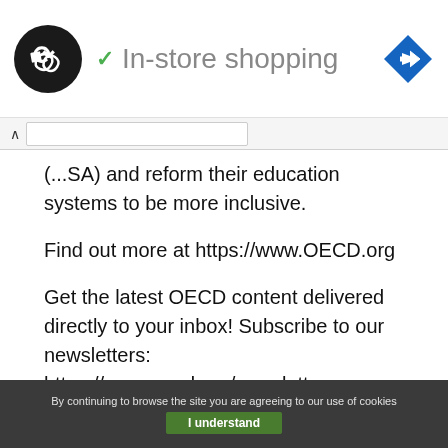[Figure (screenshot): Ad banner showing a circular black logo with arrows icon, green checkmark, 'In-store shopping' text in grey, and a blue diamond turn arrow icon on the right]
(...SA) and reform their education systems to be more inclusive.
Find out more at https://www.OECD.org
Get the latest OECD content delivered directly to your inbox! Subscribe to our newsletters: https://www.oecd.org/newsletters
Follow us on social media:
By continuing to browse the site you are agreeing to our use of cookies
I understand